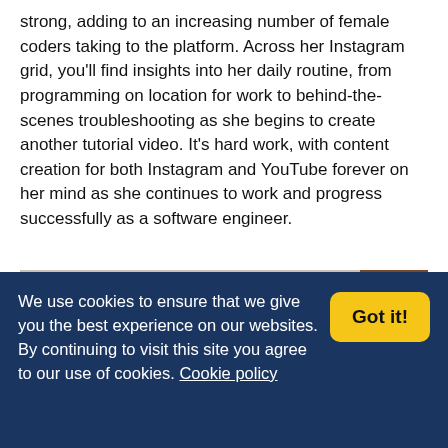strong, adding to an increasing number of female coders taking to the platform. Across her Instagram grid, you'll find insights into her daily routine, from programming on location for work to behind-the-scenes troubleshooting as she begins to create another tutorial video. It's hard work, with content creation for both Instagram and YouTube forever on her mind as she continues to work and progress successfully as a software engineer.
[Figure (photo): A person sitting at a desk with framed artwork on the wall behind them, partially visible in a cropped photograph.]
We use cookies to ensure that we give you the best experience on our websites. By continuing to visit this site you agree to our use of cookies. Cookie policy